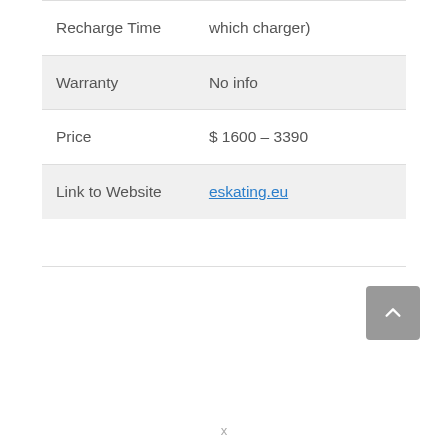| Field | Value |
| --- | --- |
| Recharge Time | which charger) |
| Warranty | No info |
| Price | $ 1600 – 3390 |
| Link to Website | eskating.eu |